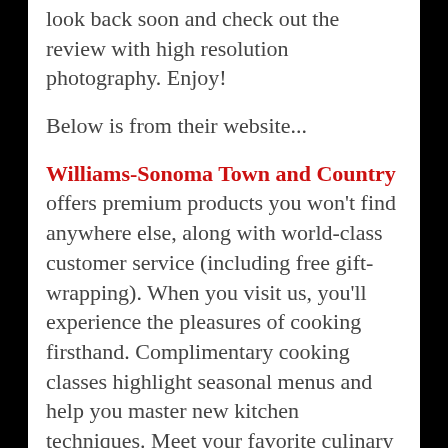look back soon and check out the review with high resolution photography. Enjoy!
Below is from their website...
Williams-Sonoma Town and Country offers premium products you won't find anywhere else, along with world-class customer service (including free gift-wrapping). When you visit us, you'll experience the pleasures of cooking firsthand. Complimentary cooking classes highlight seasonal menus and help you master new kitchen techniques. Meet your favorite culinary authors at our book signings. Specialty food tastings introduce you to artisanal flavors from around the world. Demonstrations of the latest kitchen equipment give you hands-